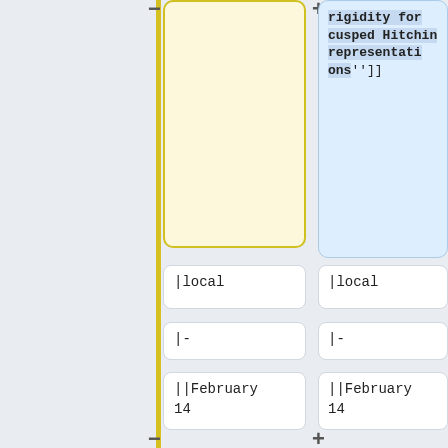rigidity for cusped Hitchin representations'']]
|local
|local
|-
|-
||February 14
||February 14
|Stephen Cantrell (U Chicago)
|Stephen Cantrell (U Chicago)
|[[# Stephen Cantrell (U Chicago)| ''TBA'']]
|[[#Stephen Cantrell (U Chicago)| ''Counting limit theorems for